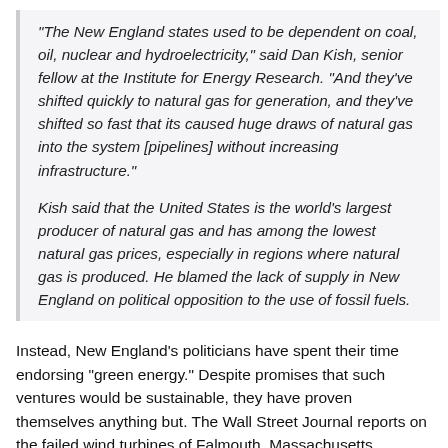“The New England states used to be dependent on coal, oil, nuclear and hydroelectricity,” said Dan Kish, senior fellow at the Institute for Energy Research. “And they’ve shifted quickly to natural gas for generation, and they’ve shifted so fast that its caused huge draws of natural gas into the system [pipelines] without increasing infrastructure.”
Kish said that the United States is the world’s largest producer of natural gas and has among the lowest natural gas prices, especially in regions where natural gas is produced. He blamed the lack of supply in New England on political opposition to the use of fossil fuels.
Instead, New England’s politicians have spent their time endorsing “green energy.” Despite promises that such ventures would be sustainable, they have proven themselves anything but. The Wall Street Journal reports on the failed wind turbines of Falmouth, Massachusetts